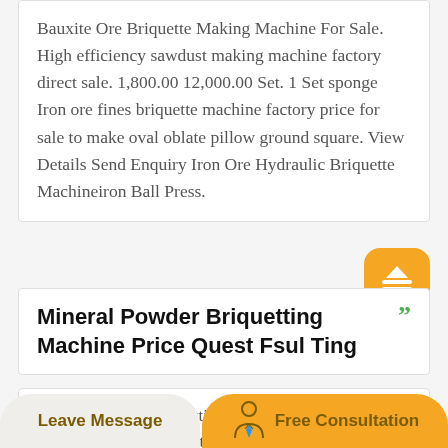Bauxite Ore Briquette Making Machine For Sale. High efficiency sawdust making machine factory direct sale. 1,800.00 12,000.00 Set. 1 Set sponge Iron ore fines briquette machine factory price for sale to make oval oblate pillow ground square. View Details Send Enquiry Iron Ore Hydraulic Briquette Machineiron Ball Press.
Mineral Powder Briquetting Machine Price Quest Fsul Ting
Mineral powder briquetting machine price quest. Manganese Ore Briquetting Machine
Leave Message   Free Consultation